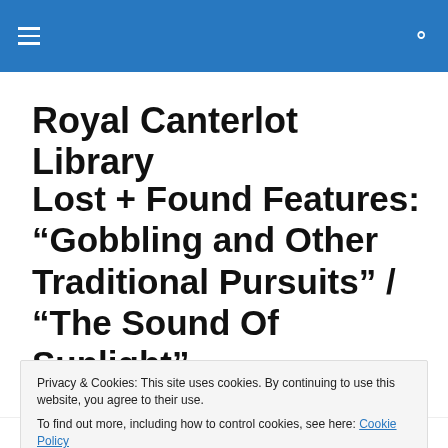Royal Canterlot Library
Royal Canterlot Library
Lost + Found Features: “Gobbling and Other Traditional Pursuits” / “The Sound Of Sunlight”
Privacy & Cookies: This site uses cookies. By continuing to use this website, you agree to their use.
To find out more, including how to control cookies, see here: Cookie Policy
don’t worry — we’ve got you covered!. We keep track